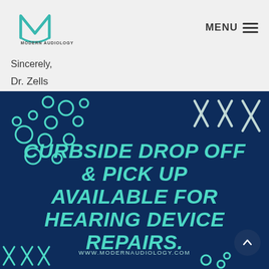[Figure (logo): Modern Audiology logo with teal M letter and company name]
Sincerely,
Dr. Zells
[Figure (infographic): Dark navy blue promotional banner with teal decorative circles and X shapes. Large teal italic bold text: CURBSIDE DROP OFF & PICK UP AVAILABLE FOR HEARING DEVICE REPAIRS. URL at bottom: WWW.MODERNAUDIOLOGY.COM]